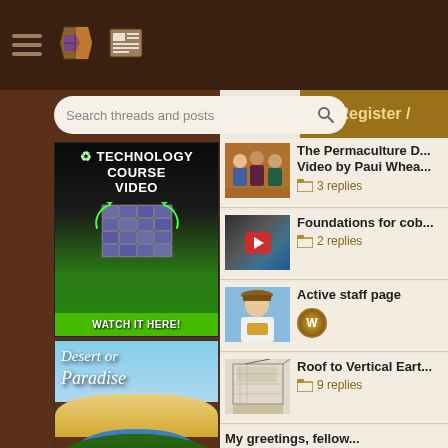Navigation bar with hamburger menu, book icon, and news icon
Search threads and posts
[Figure (illustration): Technology Course Video advertisement showing solar panels with text 'TECHNOLOGY COURSE VIDEO' and 'WATCH IT HERE!' on green button]
[Figure (photo): Desert or Paradise - Sepp Holzer Documentary book/DVD cover showing desert oasis scene]
[Figure (screenshot): SKills TO advertisement - partially visible]
Register /
The Permaculture D... Video by Paui Whea... 3 replies
Foundations for cob... 2 replies
Active staff page
Roof to Vertical Eart... 9 replies
My greetings, fellow...